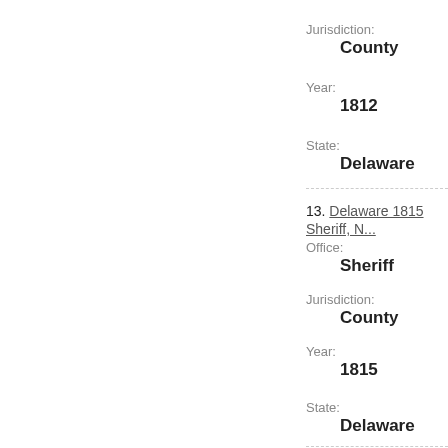Jurisdiction:
County
Year:
1812
State:
Delaware
13. Delaware 1815 Sheriff, ...
Office:
Sheriff
Jurisdiction:
County
Year:
1815
State:
Delaware
14. Delaware 1816 Sheriff, ...
Office:
Sheriff